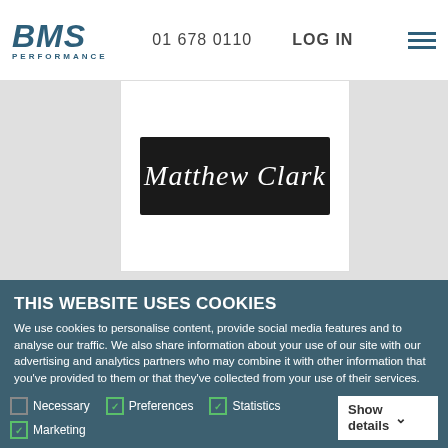BMS PERFORMANCE | 01 678 0110 | LOG IN
[Figure (logo): Matthew Clark logo — white cursive script on black rectangular background]
THIS WEBSITE USES COOKIES
We use cookies to personalise content, provide social media features and to analyse our traffic. We also share information about your use of our site with our advertising and analytics partners who may combine it with other information that you've provided to them or that they've collected from your use of their services.
OK
Necessary  Preferences  Statistics  Marketing  Show details